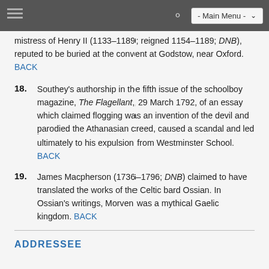- Main Menu -
mistress of Henry II (1133–1189; reigned 1154–1189; DNB), reputed to be buried at the convent at Godstow, near Oxford. BACK
18. Southey's authorship in the fifth issue of the schoolboy magazine, The Flagellant, 29 March 1792, of an essay which claimed flogging was an invention of the devil and parodied the Athanasian creed, caused a scandal and led ultimately to his expulsion from Westminster School. BACK
19. James Macpherson (1736–1796; DNB) claimed to have translated the works of the Celtic bard Ossian. In Ossian's writings, Morven was a mythical Gaelic kingdom. BACK
ADDRESSEE